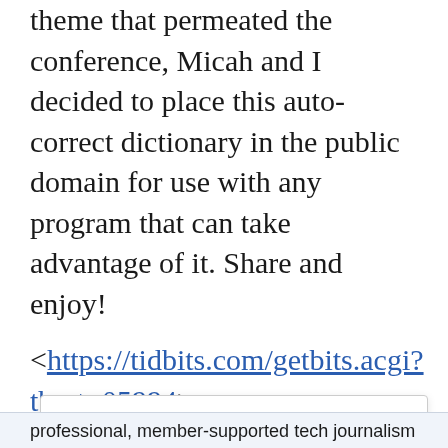theme that permeated the conference, Micah and I decided to place this auto-correct dictionary in the public domain for use with any program that can take advantage of it. Share and enjoy!
<https://tidbits.com/getbits.acgi?tbart=05994>
Cookies & Privacy: We wish we were talking about chocolate-chip cookies here, but our Web site—like nearly all others—relies on a few minor digital cookies. Various laws around the world require us to tell you that fact, so consider yourself informed, if not nourished. By continuing to use this site, you agree to our use of these cookies. Cookie and Privacy Notice [Close and Accept]
professional, member-supported tech journalism